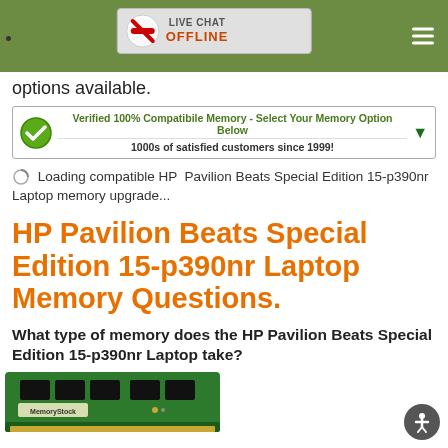LIVE CHAT OFFLINE
options available.
[Figure (infographic): Green verified banner: Verified 100% Compatibile Memory - Select Your Memory Option Below / 1000s of satisfied customers since 1999!]
Loading compatible HP Pavilion Beats Special Edition 15-p390nr Laptop memory upgrade...
HP Pavilion Beats Special Edition 15-p390nr Laptop Memory Questions.
What type of memory does the HP Pavilion Beats Special Edition 15-p390nr Laptop take?
[Figure (photo): Green RAM memory sticks with MemoryStock label]